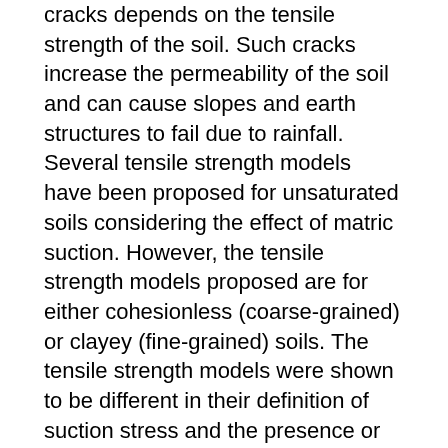cracks depends on the tensile strength of the soil. Such cracks increase the permeability of the soil and can cause slopes and earth structures to fail due to rainfall. Several tensile strength models have been proposed for unsaturated soils considering the effect of matric suction. However, the tensile strength models proposed are for either cohesionless (coarse-grained) or clayey (fine-grained) soils. The tensile strength models were shown to be different in their definition of suction stress and the presence or absence of a cohesion term. As tensile strength data of fine-grained soils with the same soil structure and soil–water characteristic curve (SWCC) data are lacking in the literature, Brazilian tensile tests and SWCC tests were conducted on compacted fine-grained soils from two residual soil formations. The test data highlighted the problem in the friction angle used in existing tensile strength models. Using a general form of the suction